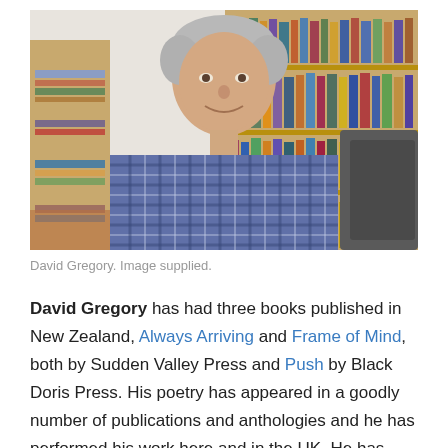[Figure (photo): A middle-aged man with short grey hair, wearing a blue and white checked shirt, smiling at the camera. Behind him is a large wooden bookshelf filled with books, and a leather chair is partially visible to the right.]
David Gregory. Image supplied.
David Gregory has had three books published in New Zealand, Always Arriving and Frame of Mind, both by Sudden Valley Press and Push by Black Doris Press. His poetry has appeared in a goodly number of publications and anthologies and he has performed his work here and in the UK. He has been involved with the promotion of